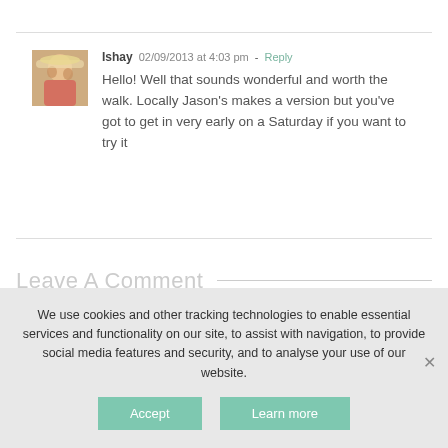Ishay  02/09/2013 at 4:03 pm - Reply
Hello! Well that sounds wonderful and worth the walk. Locally Jason's makes a version but you've got to get in very early on a Saturday if you want to try it
Leave A Comment
We use cookies and other tracking technologies to enable essential services and functionality on our site, to assist with navigation, to provide social media features and security, and to analyse your use of our website.
Accept  Learn more